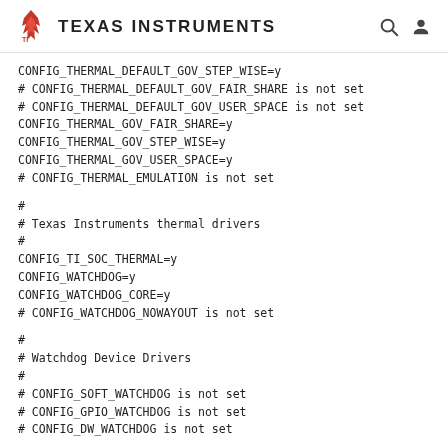Texas Instruments
CONFIG_THERMAL_DEFAULT_GOV_STEP_WISE=y
# CONFIG_THERMAL_DEFAULT_GOV_FAIR_SHARE is not set
# CONFIG_THERMAL_DEFAULT_GOV_USER_SPACE is not set
CONFIG_THERMAL_GOV_FAIR_SHARE=y
CONFIG_THERMAL_GOV_STEP_WISE=y
CONFIG_THERMAL_GOV_USER_SPACE=y
# CONFIG_THERMAL_EMULATION is not set
#
# Texas Instruments thermal drivers
#
CONFIG_TI_SOC_THERMAL=y
CONFIG_WATCHDOG=y
CONFIG_WATCHDOG_CORE=y
# CONFIG_WATCHDOG_NOWAYOUT is not set
#
# Watchdog Device Drivers
#
# CONFIG_SOFT_WATCHDOG is not set
# CONFIG_GPIO_WATCHDOG is not set
# CONFIG_DW_WATCHDOG is not set